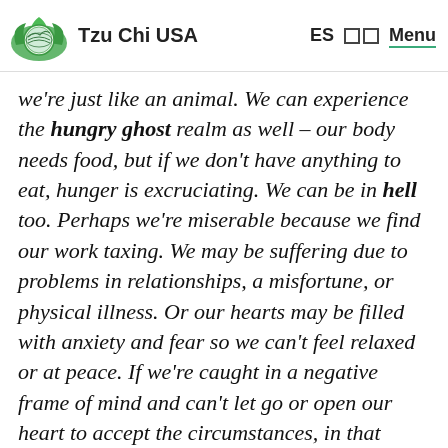Tzu Chi USA  ES  Menu
we're just like an animal. We can experience the hungry ghost realm as well – our body needs food, but if we don't have anything to eat, hunger is excruciating. We can be in hell too. Perhaps we're miserable because we find our work taxing. We may be suffering due to problems in relationships, a misfortune, or physical illness. Or our hearts may be filled with anxiety and fear so we can't feel relaxed or at peace. If we're caught in a negative frame of mind and can't let go or open our heart to accept the circumstances, in that moment, we're in a